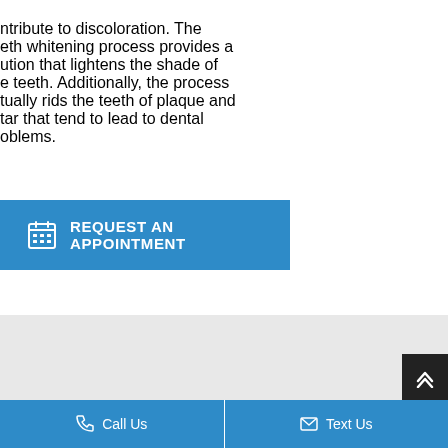ntribute to discoloration. The eth whitening process provides a ution that lightens the shade of e teeth. Additionally, the process tually rids the teeth of plaque and tar that tend to lead to dental oblems.
[Figure (other): Blue button with calendar icon and text REQUEST AN APPOINTMENT]
[Figure (other): Light gray map or placeholder area]
Call Us   Text Us